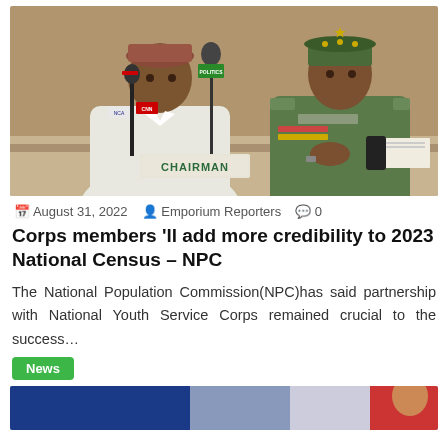[Figure (photo): Two men seated at a conference table with microphones in front of them. The man on the left wears a traditional Nigerian attire and cap. The man on the right wears a military uniform with medals. A nameplate reading 'CHAIRMAN' is visible on the table.]
August 31, 2022   Emporium Reporters   0
Corps members 'll add more credibility to 2023 National Census – NPC
The National Population Commission(NPC)has said partnership with National Youth Service Corps remained crucial to the success…
News
[Figure (photo): Bottom partial photo, appears to be another news article image, partially visible.]